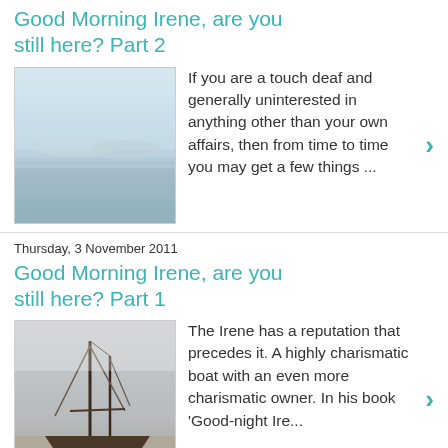Good Morning Irene, are you still here? Part 2
[Figure (photo): Ocean/sea horizon photo with calm water and hazy sky]
If you are a touch deaf and generally uninterested in anything other than your own affairs, then from time to time you may get a few things ...
Thursday, 3 November 2011
Good Morning Irene, are you still here? Part 1
[Figure (photo): Old sailing boat beached on sand in foggy/misty conditions]
The Irene has a reputation that precedes it. A highly charismatic boat with an even more charismatic owner. In his book 'Good-night Ire...
Monday, 29 August 2011
It's been a while. Sorry
Many a tide has fallen since my last entry to this here Blog-O-Gramme. The winds have blown me to France, where the